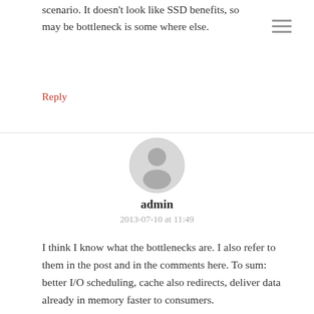scenario. It doesn't look like SSD benefits, so may be bottleneck is some where else.
Reply
[Figure (illustration): Generic user avatar: grey circle with a silhouette of a person (head and shoulders), light grey background]
admin
2013-07-10 at 11:49
I think I know what the bottlenecks are. I also refer to them in the post and in the comments here. To sum: better I/O scheduling, cache also redirects, deliver data already in memory faster to consumers.
Reply